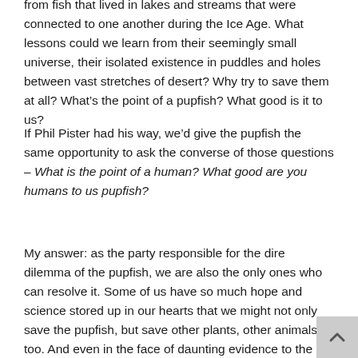from fish that lived in lakes and streams that were connected to one another during the Ice Age. What lessons could we learn from their seemingly small universe, their isolated existence in puddles and holes between vast stretches of desert? Why try to save them at all? What's the point of a pupfish? What good is it to us?
If Phil Pister had his way, we'd give the pupfish the same opportunity to ask the converse of those questions – What is the point of a human? What good are you humans to us pupfish?
My answer: as the party responsible for the dire dilemma of the pupfish, we are also the only ones who can resolve it. Some of us have so much hope and science stored up in our hearts that we might not only save the pupfish, but save other plants, other animals, too. And even in the face of daunting evidence to the contrary (you know, all the